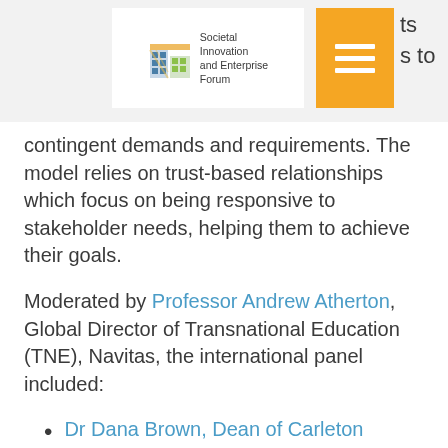[Figure (logo): Societal Innovation and Enterprise Forum logo with colourful building icon and text]
[Figure (other): Orange rectangle with white hamburger menu lines]
ts
s to
contingent demands and requirements. The model relies on trust-based relationships which focus on being responsive to stakeholder needs, helping them to achieve their goals.
Moderated by Professor Andrew Atherton, Global Director of Transnational Education (TNE), Navitas, the international panel included:
Dr Dana Brown, Dean of Carleton University's Sprott School of Business, Ottawa, Canada
Professor Paul Gough, Vice-Chancellor and Principal A...